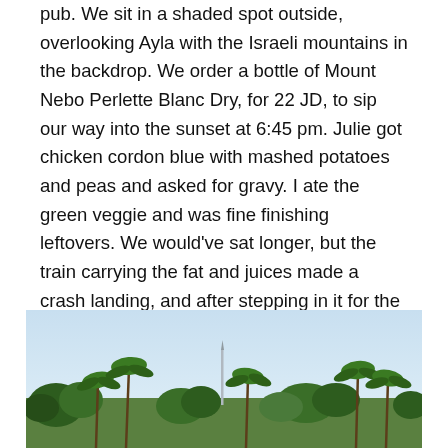pub. We sit in a shaded spot outside, overlooking Ayla with the Israeli mountains in the backdrop. We order a bottle of Mount Nebo Perlette Blanc Dry, for 22 JD, to sip our way into the sunset at 6:45 pm. Julie got chicken cordon blue with mashed potatoes and peas and asked for gravy. I ate the green veggie and was fine finishing leftovers. We would've sat longer, but the train carrying the fat and juices made a crash landing, and after stepping in it for the third time and wiping it off my shoe I pushed my chair back to get away from it – even if that meant blocking the waitress from the other tables.
[Figure (photo): Outdoor scene showing a row of palm trees and other tropical vegetation against a hazy light blue sky, with a tall thin structure (possibly a minaret or antenna) visible in the background centre.]